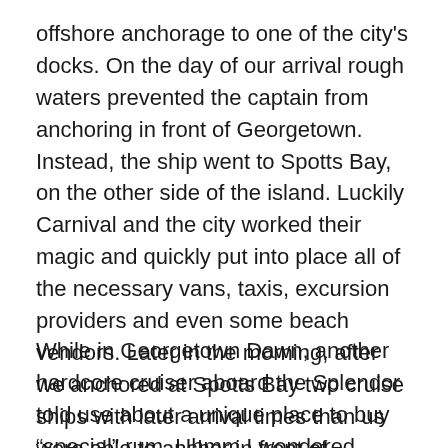offshore anchorage to one of the city's docks. On the day of our arrival rough waters prevented the captain from anchoring in front of Georgetown. Instead, the ship went to Spotts Bay, on the other side of the island. Luckily Carnival and the city worked their magic and quickly put into place all of the necessary vans, taxis, excursion providers and even some beach vendors. Later in the morning, after we anchored at Spotts Bay two cruise ships with later arrival times than us were able to anchor in front of Georgetown, which provided the usual flood of people to enjoy Grand Cayman's wealth of activities. Amazingly, few people know about the tarpon.
While in Georgetown Dawn, another hardcore cruiser aboard the Splendor told use about a unique place to buy “special” rum. Uhmm I wondered. What kind of place could she be talking about? After all our experience in port shops...